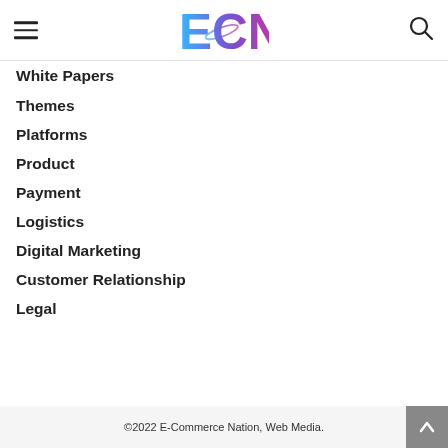[Figure (logo): ECN logo with gradient letters in blue to purple, E-Commerce Nation website header logo]
White Papers
Themes
Platforms
Product
Payment
Logistics
Digital Marketing
Customer Relationship
Legal
©2022 E-Commerce Nation, Web Media.